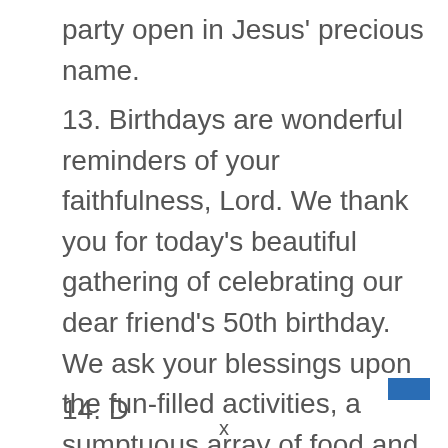party open in Jesus' precious name.
13. Birthdays are wonderful reminders of your faithfulness, Lord. We thank you for today's beautiful gathering of celebrating our dear friend's 50th birthday. We ask your blessings upon the fun-filled activities, a sumptuous array of food and tempting delicacies. We pray for the outpouring of your love and goodness upon the celebrant. Thank you, Lord, for the testimonies that will abound thereafter, in Jesus name.
14. Dear God of heavens and earth...
x